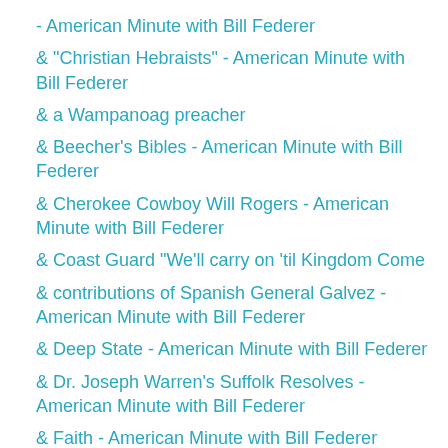- American Minute with Bill Federer
& "Christian Hebraists" - American Minute with Bill Federer
& a Wampanoag preacher
& Beecher's Bibles - American Minute with Bill Federer
& Cherokee Cowboy Will Rogers - American Minute with Bill Federer
& Coast Guard "We'll carry on 'til Kingdom Come
& contributions of Spanish General Galvez - American Minute with Bill Federer
& Deep State - American Minute with Bill Federer
& Dr. Joseph Warren's Suffolk Resolves - American Minute with Bill Federer
& Faith - American Minute with Bill Federer